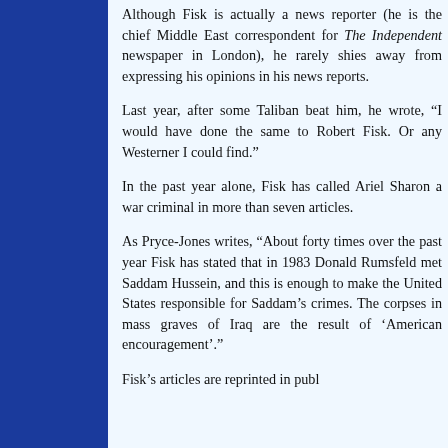Although Fisk is actually a news reporter (he is the chief Middle East correspondent for The Independent newspaper in London), he rarely shies away from expressing his opinions in his news reports.
Last year, after some Taliban beat him, he wrote, “I would have done the same to Robert Fisk. Or any Westerner I could find.”
In the past year alone, Fisk has called Ariel Sharon a war criminal in more than seven articles.
As Pryce-Jones writes, “About forty times over the past year Fisk has stated that in 1983 Donald Rumsfeld met Saddam Hussein, and this is enough to make the United States responsible for Saddam’s crimes. The corpses in mass graves of Iraq are the result of ‘American encouragement’.”
Fisk’s articles are reprinted in publ...